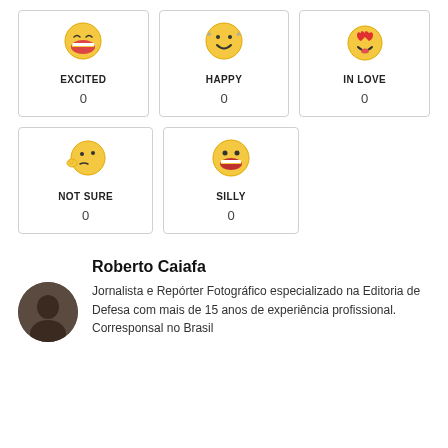[Figure (infographic): Emoji reaction card: EXCITED face with big grin, count 0]
[Figure (infographic): Emoji reaction card: HAPPY face with smile, count 0]
[Figure (infographic): Emoji reaction card: IN LOVE face with heart eyes, count 0]
[Figure (infographic): Emoji reaction card: NOT SURE thinking face, count 0]
[Figure (infographic): Emoji reaction card: SILLY face with big grin, count 0]
Roberto Caiafa
Jornalista e Repórter Fotográfico especializado na Editoria de Defesa com mais de 15 anos de experiência profissional. Corresponsal no Brasil